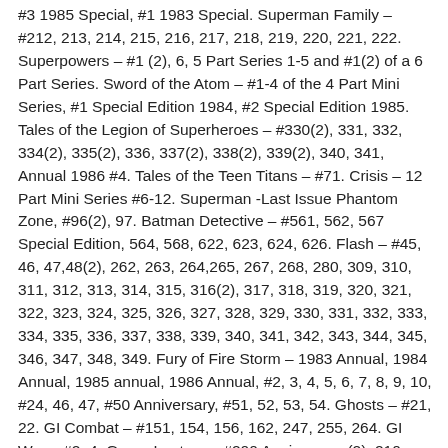#3 1985 Special, #1 1983 Special. Superman Family – #212, 213, 214, 215, 216, 217, 218, 219, 220, 221, 222. Superpowers – #1 (2), 6, 5 Part Series 1-5 and #1(2) of a 6 Part Series. Sword of the Atom – #1-4 of the 4 Part Mini Series, #1 Special Edition 1984, #2 Special Edition 1985. Tales of the Legion of Superheroes – #330(2), 331, 332, 334(2), 335(2), 336, 337(2), 338(2), 339(2), 340, 341, Annual 1986 #4. Tales of the Teen Titans – #71. Crisis – 12 Part Mini Series #6-12. Superman -Last Issue Phantom Zone, #96(2), 97. Batman Detective – #561, 562, 567 Special Edition, 564, 568, 622, 623, 624, 626. Flash – #45, 46, 47,48(2), 262, 263, 264,265, 267, 268, 280, 309, 310, 311, 312, 313, 314, 315, 316(2), 317, 318, 319, 320, 321, 322, 323, 324, 325, 326, 327, 328, 329, 330, 331, 332, 333, 334, 335, 336, 337, 338, 339, 340, 341, 342, 343, 344, 345, 346, 347, 348, 349. Fury of Fire Storm – 1983 Annual, 1984 Annual, 1985 annual, 1986 Annual, #2, 3, 4, 5, 6, 7, 8, 9, 10, #24, 46, 47, #50 Anniversary, #51, 52, 53, 54. Ghosts – #21, 22. GI Combat – #151, 154, 156, 162, 247, 255, 264. GI War – #2, 4. Green Lantern – #200 Anniversary (2), 210 Collectors Item Premiere Issue (2), 202 (2), 203(2), 204 (2),